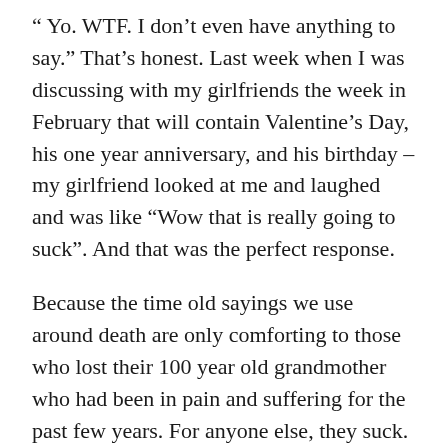“ Yo.  WTF. I don’t even have anything to say.”  That’s honest. Last week when I was discussing with my girlfriends the week in February that will contain Valentine’s Day, his one year anniversary, and his birthday – my girlfriend looked at me and laughed and was like “Wow that is really going to suck”.  And that was the perfect response.
Because the time old sayings we use around death are only comforting to those who lost their 100 year old grandmother who had been in pain and suffering for the past few years.  For anyone else, they suck.  This did not happen to make me stronger, in no universe is it acceptable that my husband had to die to teach me a lesson.  Time does not heal all wounds – it will get better and easier in time but I will never be the same person and it will never go away completely.  God did not need another angel, he’s got plenty and my husband made fun of Helen Keller far too often for him to be God’s first